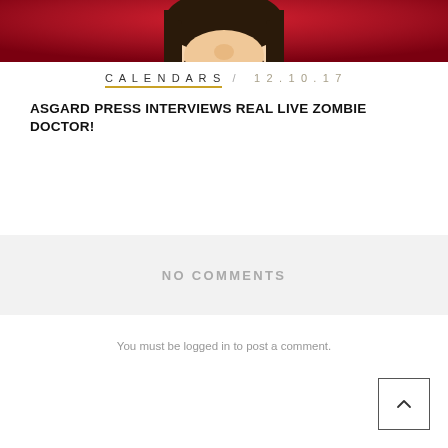[Figure (illustration): Illustrated character face on red background — appears to be a stylized comic or cartoon figure with dark hair and beard, visible from nose up, cropped at the top of the page.]
CALENDARS / 12.10.17
ASGARD PRESS INTERVIEWS REAL LIVE ZOMBIE DOCTOR!
NO COMMENTS
You must be logged in to post a comment.